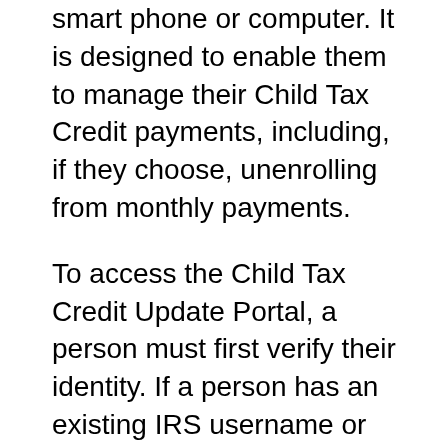smart phone or computer. It is designed to enable them to manage their Child Tax Credit payments, including, if they choose, unenrolling from monthly payments.
To access the Child Tax Credit Update Portal, a person must first verify their identity. If a person has an existing IRS username or an ID.me account with a verified identity, they can use those accounts to easily sign in. People without an existing account will be asked to verify their identity with a form of photo identification using ID.me, a trusted third party for the IRS. Identity verification is an important safeguard and will protect the user's account from identity theft.
Anyone who lacks internet access or